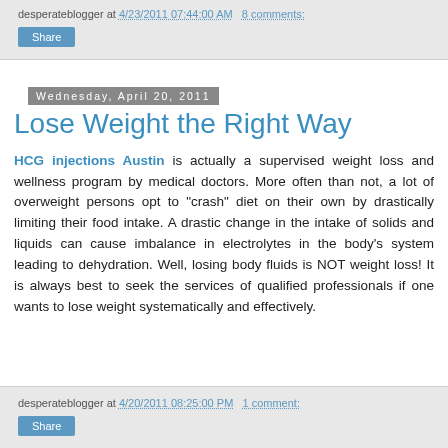desperateblogger at 4/23/2011 07:44:00 AM   8 comments:
Share
Wednesday, April 20, 2011
Lose Weight the Right Way
HCG injections Austin is actually a supervised weight loss and wellness program by medical doctors. More often than not, a lot of overweight persons opt to "crash" diet on their own by drastically limiting their food intake. A drastic change in the intake of solids and liquids can cause imbalance in electrotytes in the body's system leading to dehydration. Well, losing body fluids is NOT weight loss! It is always best to seek the services of qualified professionals if one wants to lose weight systematically and effectively.
desperateblogger at 4/20/2011 08:25:00 PM   1 comment:
Share